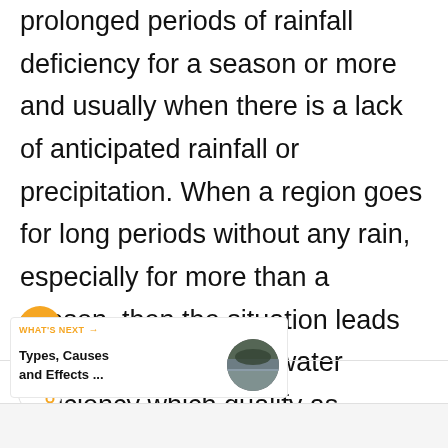prolonged periods of rainfall deficiency for a season or more and usually when there is a lack of anticipated rainfall or precipitation. When a region goes for long periods without any rain, especially for more than a season, then the situation leads to dry conditions and water deficiency which qualify as drought.
[Figure (illustration): Orange circular like/heart button]
[Figure (illustration): White circular share button with orange share icon]
WHAT'S NEXT → Types, Causes and Effects ...